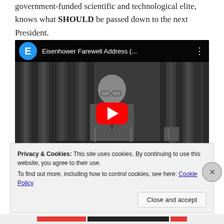government-funded scientific and technological elite, knows what SHOULD be passed down to the next President.
[Figure (screenshot): Embedded YouTube video player showing 'Eisenhower Farewell Address (...)' with a channel avatar 'E' in blue circle, video title in white, three-dot menu, and a red YouTube play button in the center over a black-and-white thumbnail of a man in a suit at a desk.]
Privacy & Cookies: This site uses cookies. By continuing to use this website, you agree to their use.
To find out more, including how to control cookies, see here: Cookie Policy
Close and accept